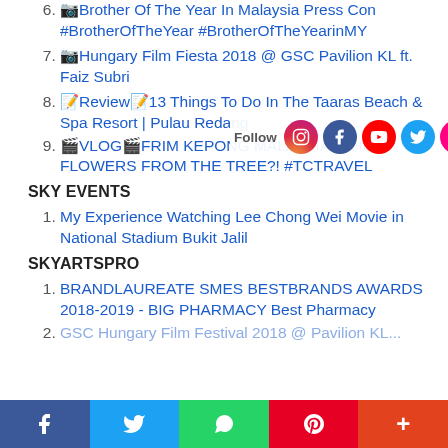6. 📷Brother Of The Year In Malaysia Press Con #BrotherOfTheYear #BrotherOfTheYearinMY
7. 📷Hungary Film Fiesta 2018 @ GSC Pavilion KL ft. Faiz Subri
[Figure (infographic): Social media follow buttons: Follow label with icons for Instagram, Facebook, YouTube, Twitter, Flickr, Pinterest, Tumblr, RSS]
8. 📝Review📝13 Things To Do In The Taaras Beach & Spa Resort | Pulau Redang
9. 🎬VLOG🎬FRIM KEPONG MALAYSIA | THESE FLOWERS FROM THE TREE?! #TCTRAVEL
SKY EVENTS
1. My Experience Watching Lee Chong Wei Movie in National Stadium Bukit Jalil
SKYARTSPRO
1. BRANDLAUREATE SMES BESTBRANDS AWARDS 2018-2019 - BIG PHARMACY Best Pharmacy
2. GSC Hungary Film Festival 2018 @ Pavilion KL...
f  Twitter  WhatsApp  Pinterest  +